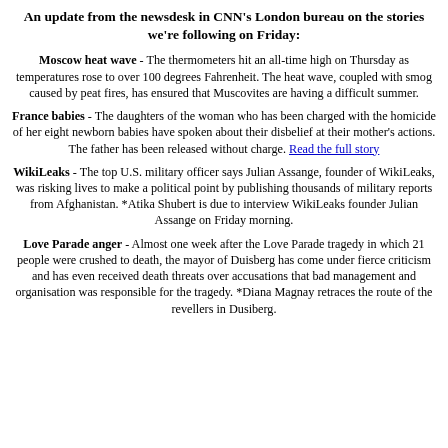An update from the newsdesk in CNN's London bureau on the stories we're following on Friday:
Moscow heat wave - The thermometers hit an all-time high on Thursday as temperatures rose to over 100 degrees Fahrenheit. The heat wave, coupled with smog caused by peat fires, has ensured that Muscovites are having a difficult summer.
France babies - The daughters of the woman who has been charged with the homicide of her eight newborn babies have spoken about their disbelief at their mother's actions. The father has been released without charge. Read the full story
WikiLeaks - The top U.S. military officer says Julian Assange, founder of WikiLeaks, was risking lives to make a political point by publishing thousands of military reports from Afghanistan. *Atika Shubert is due to interview WikiLeaks founder Julian Assange on Friday morning.
Love Parade anger - Almost one week after the Love Parade tragedy in which 21 people were crushed to death, the mayor of Duisberg has come under fierce criticism and has even received death threats over accusations that bad management and organisation was responsible for the tragedy. *Diana Magnay retraces the route of the revellers in Dusiberg.